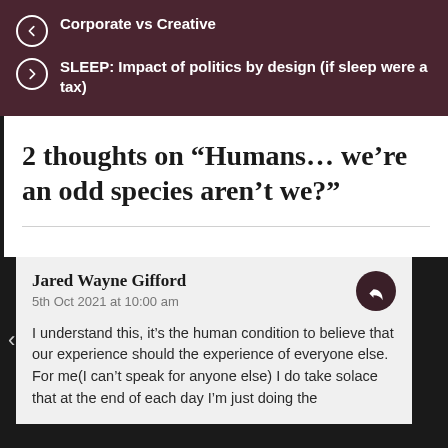Corporate vs Creative
SLEEP: Impact of politics by design (if sleep were a tax)
2 thoughts on “Humans… we’re an odd species aren’t we?”
Jared Wayne Gifford
5th Oct 2021 at 10:00 am

I understand this, it's the human condition to believe that our experience should the experience of everyone else.
For me(I can't speak for anyone else) I do take solace that at the end of each day I'm just doing the